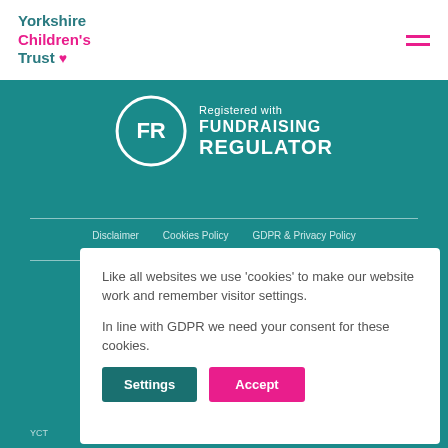Yorkshire Children's Trust
[Figure (logo): Fundraising Regulator badge with FR circle logo and text 'Registered with FUNDRAISING REGULATOR']
Disclaimer   Cookies Policy   GDPR & Privacy Policy
Like all websites we use 'cookies' to make our website work and remember visitor settings.

In line with GDPR we need your consent for these cookies.
Settings   Accept